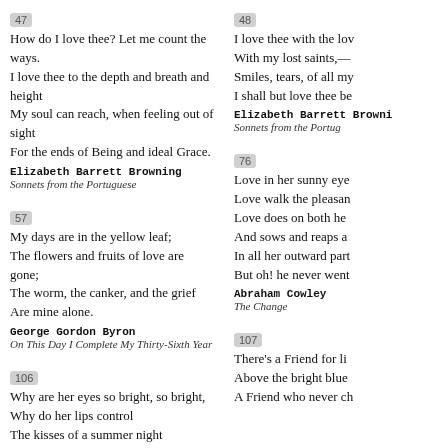47
How do I love thee? Let me count the ways.
I love thee to the depth and breath and height
My soul can reach, when feeling out of sight
For the ends of Being and ideal Grace.
Elizabeth Barrett Browning
Sonnets from the Portuguese
48
I love thee with the lov
With my lost saints,—
Smiles, tears, of all my
I shall but love thee be
Elizabeth Barrett Browni
Sonnets from the Portug
57
My days are in the yellow leaf;
The flowers and fruits of love are gone;
The worm, the canker, and the grief
Are mine alone.
George Gordon Byron
On This Day I Complete My Thirty-Sixth Year
76
Love in her sunny eye
Love walk the pleasan
Love does on both he
And sows and reaps a
In all her outward part
But oh! he never went
Abraham Cowley
The Change
106
Why are her eyes so bright, so bright,
Why do her lips control
The kisses of a summer night
107
There's a Friend for li
Above the bright blue
A Friend who never ch